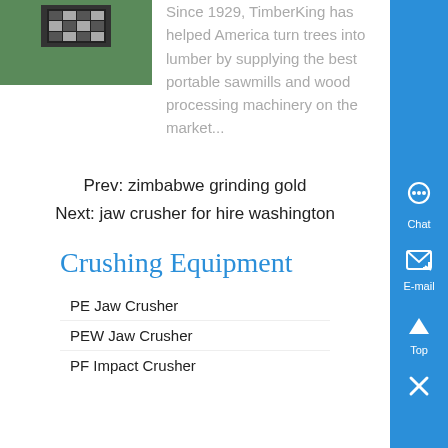[Figure (photo): Small thumbnail image of a sawmill machine on green background]
Since 1929, TimberKing has helped America turn trees into lumber by supplying the best portable sawmills and wood processing machinery on the market...
Prev: zimbabwe grinding gold
Next: jaw crusher for hire washington
Crushing Equipment
PE Jaw Crusher
PEW Jaw Crusher
PF Impact Crusher